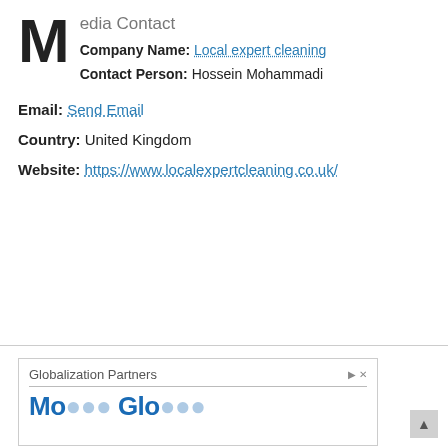Media Contact
Company Name: Local expert cleaning
Contact Person: Hossein Mohammadi
Email: Send Email
Country: United Kingdom
Website: https://www.localexpertcleaning.co.uk/
[Figure (other): Advertisement banner for Globalization Partners with logo text partially visible]